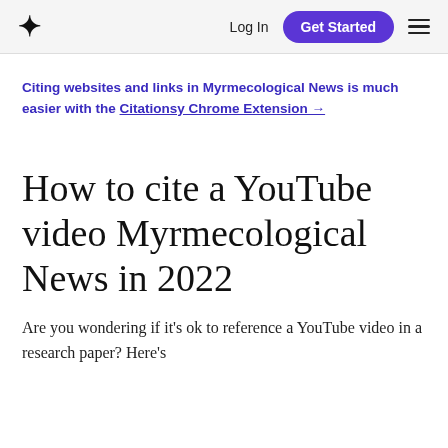* Log In  Get Started  ☰
Citing websites and links in Myrmecological News is much easier with the Citationsy Chrome Extension →
How to cite a YouTube video Myrmecological News in 2022
Are you wondering if it's ok to reference a YouTube video in a research paper? Here's